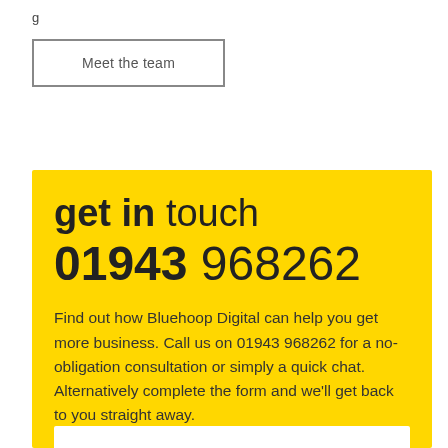g...
Meet the team
get in touch
01943 968262
Find out how Bluehoop Digital can help you get more business. Call us on 01943 968262 for a no-obligation consultation or simply a quick chat. Alternatively complete the form and we'll get back to you straight away.